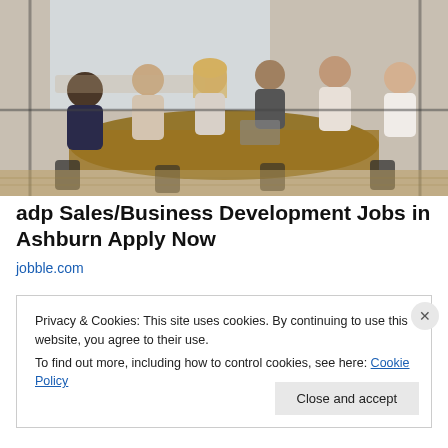[Figure (photo): Office meeting room with group of people sitting around a long table, having a business meeting. Photo taken through glass partition.]
adp Sales/Business Development Jobs in Ashburn Apply Now
jobble.com
Privacy & Cookies: This site uses cookies. By continuing to use this website, you agree to their use.
To find out more, including how to control cookies, see here: Cookie Policy
Close and accept